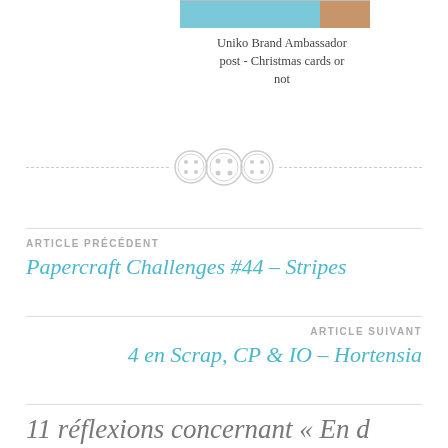[Figure (photo): Partial view of a card image at the top]
Uniko Brand Ambassador post - Christmas cards or not
[Figure (illustration): Three decorative button icons as a divider]
ARTICLE PRÉCÉDENT
Papercraft Challenges #44 – Stripes
ARTICLE SUIVANT
4 en Scrap, CP & IO – Hortensia
11 réflexions concernant « En d…